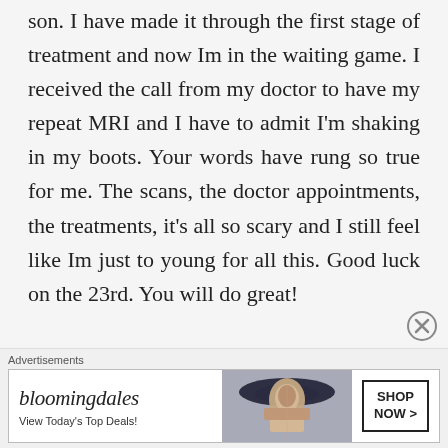I am a nurse and a single mother with one son. I have made it through the first stage of treatment and now Im in the waiting game. I received the call from my doctor to have my repeat MRI and I have to admit I'm shaking in my boots. Your words have rung so true for me. The scans, the doctor appointments, the treatments, it's all so scary and I still feel like Im just to young for all this. Good luck on the 23rd. You will do great!
[Figure (infographic): Close/dismiss button (circle with X) in lower right area]
Advertisements
[Figure (infographic): Bloomingdale's advertisement banner showing logo, tagline 'View Today's Top Deals!', image of woman with hat, and SHOP NOW > button]